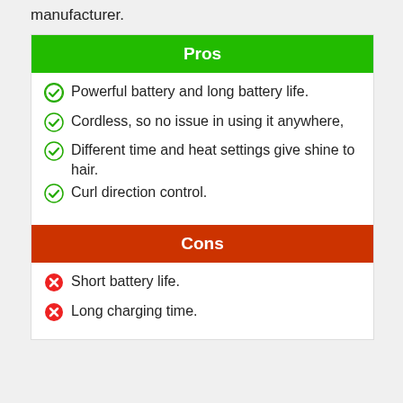manufacturer.
Pros
Powerful battery and long battery life.
Cordless, so no issue in using it anywhere,
Different time and heat settings give shine to hair.
Curl direction control.
Cons
Short battery life.
Long charging time.